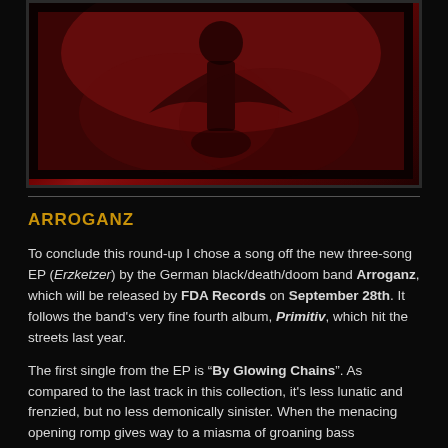[Figure (photo): Album art showing a dark red atmospheric image, likely depicting a figure, with deep crimson tones and dark border]
ARROGANZ
To conclude this round-up I chose a song off the new three-song EP (Erzketzer) by the German black/death/doom band Arroganz, which will be released by FDA Records on September 28th. It follows the band's very fine fourth album, Primitiv, which hit the streets last year.
The first single from the EP is “By Glowing Chains”. As compared to the last track in this collection, it's less lunatic and frenzied, but no less demonically sinister. When the menacing opening romp gives way to a miasma of groaning bass